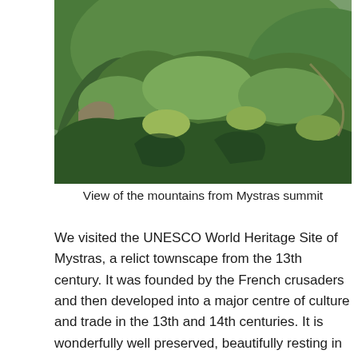[Figure (photo): Aerial/elevated view of densely forested mountains and valleys, showing green tree-covered hillsides and rocky terrain, taken from Mystras summit.]
View of the mountains from Mystras summit
We visited the UNESCO World Heritage Site of Mystras, a relict townscape from the 13th century. It was founded by the French crusaders and then developed into a major centre of culture and trade in the 13th and 14th centuries. It is wonderfully well preserved, beautifully resting in the mountainside. Today Mystras is deserted, in